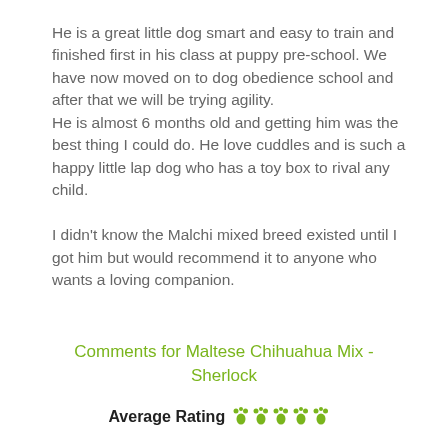He is a great little dog smart and easy to train and finished first in his class at puppy pre-school. We have now moved on to dog obedience school and after that we will be trying agility.
He is almost 6 months old and getting him was the best thing I could do. He love cuddles and is such a happy little lap dog who has a toy box to rival any child.

I didn't know the Malchi mixed breed existed until I got him but would recommend it to anyone who wants a loving companion.
Comments for Maltese Chihuahua Mix - Sherlock
Average Rating 🐾🐾🐾🐾🐾